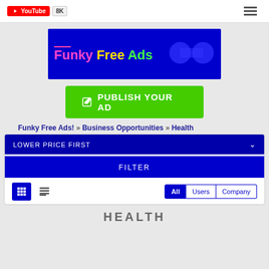[Figure (screenshot): YouTube subscribe button showing 8K subscribers]
[Figure (logo): Funky Free Ads logo on dark blue background with colorful text]
PUBLISH YOUR AD
Funky Free Ads! » Business Opportunities » Health
LOWER PRICE FIRST
FILTER
All   Users   Company
HEALTH